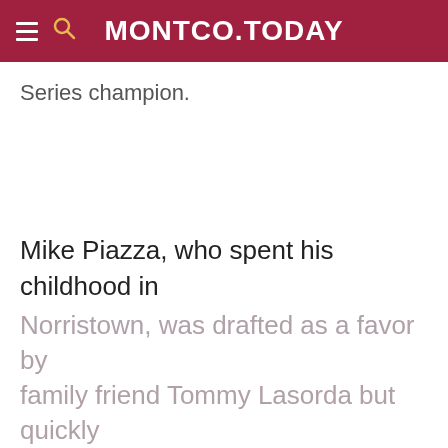MONTCO.TODAY
Series champion.
Mike Piazza, who spent his childhood in Norristown, was drafted as a favor by family friend Tommy Lasorda but quickly